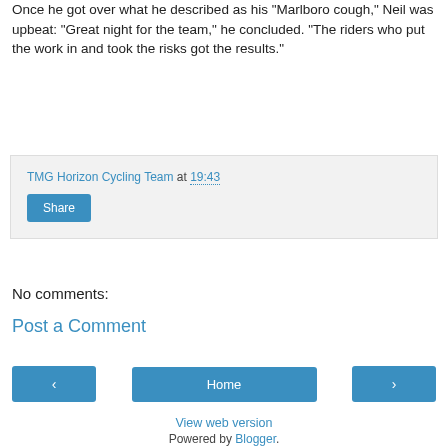Once he got over what he described as his "Marlboro cough," Neil was upbeat: "Great night for the team," he concluded. "The riders who put the work in and took the risks got the results."
TMG Horizon Cycling Team at 19:43
Share
No comments:
Post a Comment
‹
Home
›
View web version
Powered by Blogger.